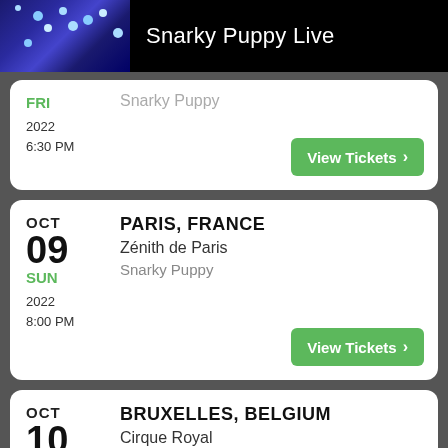Snarky Puppy Live
FRI 2022 6:30 PM | Snarky Puppy | View Tickets
OCT 09 SUN 2022 8:00 PM | PARIS, FRANCE | Zénith de Paris | Snarky Puppy | View Tickets
OCT 10 MON 2022 8:00 PM | BRUXELLES, BELGIUM | Cirque Royal | Snarky Puppy | View Tickets